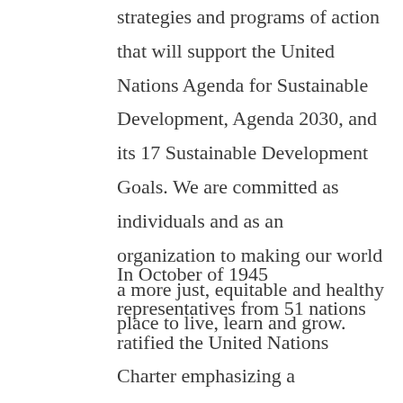strategies and programs of action that will support the United Nations Agenda for Sustainable Development, Agenda 2030, and its 17 Sustainable Development Goals. We are committed as individuals and as an organization to making our world a more just, equitable and healthy place to live, learn and grow.
In October of 1945 representatives from 51 nations ratified the United Nations Charter emphasizing a commitment to connecting civil society worldwide. In 1946 the UN General Assembly established the Department of Public Information/Non-Governmental